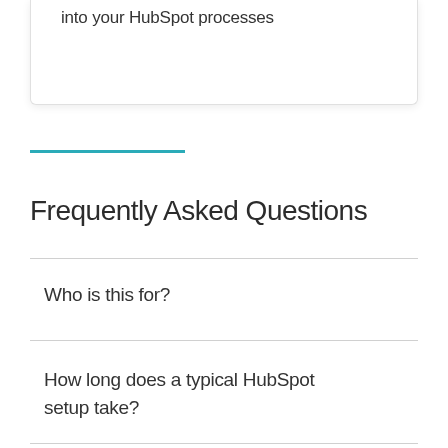into your HubSpot processes
Frequently Asked Questions
Who is this for?
How long does a typical HubSpot setup take?